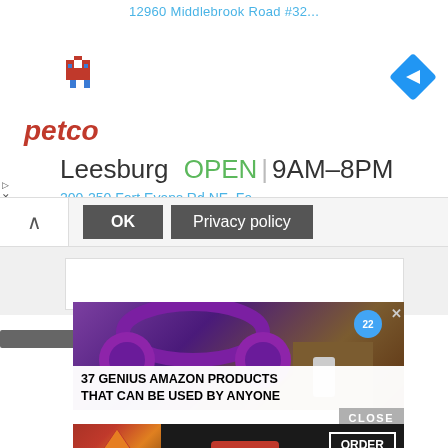12960 Middlebrook Road #32...
[Figure (screenshot): Petco store listing showing logo, Leesburg OPEN 9AM-8PM, and partial address 200-250 Fort Evans Rd NE, Fa]
[Figure (screenshot): Cookie consent bar with up chevron, OK button, and Privacy policy button]
[Figure (screenshot): Dark gray bar element below consent bar]
[Figure (screenshot): Advertisement: 37 Genius Amazon Products That Can Be Used By Anyone - showing purple headphones with '22' badge and X close button]
CLOSE
[Figure (screenshot): Seamless advertisement with pizza image, seamless logo, and ORDER NOW button]